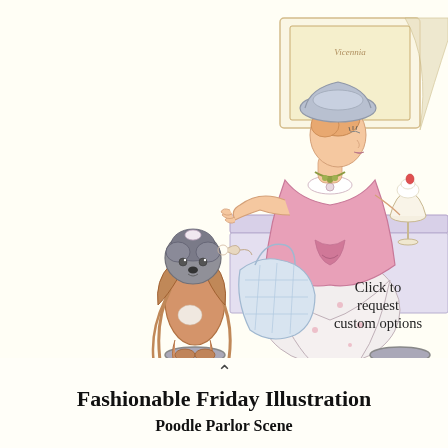[Figure (illustration): Fashion illustration of an elegant woman in a pink dress and grey hat, seated at a bar or counter with a handbag, a poodle dog sitting on a stool beside her, a dessert on the counter, and a framed picture in the background. Text overlay reads: 'Click to request custom options'.]
Click to request custom options
Fashionable Friday Illustration
Poodle Parlor Scene